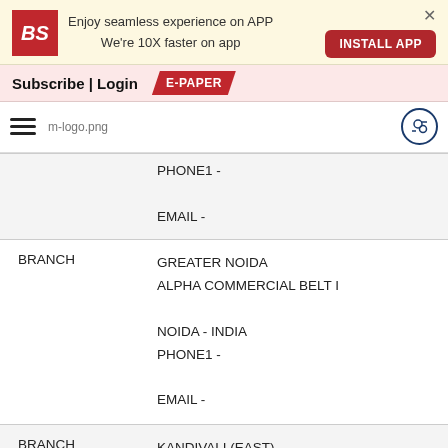[Figure (logo): Business Standard (BS) app install banner with logo, text and Install App button]
Subscribe | Login   E-PAPER
[Figure (logo): Hamburger menu icon and m-logo.png navigation bar]
| Type | Details |
| --- | --- |
|  | PHONE1 -
EMAIL - |
| BRANCH | GREATER NOIDA ALPHA COMMERCIAL BELT I
NOIDA - INDIA
PHONE1 -

EMAIL - |
| BRANCH | KANDIVALI (EAST)
THAKUR COMPLEX
WESTERN EXPRESS HIGHWAY
MUMBAI - INDIA
PHONE1 -

EMAIL - |
|  | GOURND FLOOR BLOCK NO 41/4A |